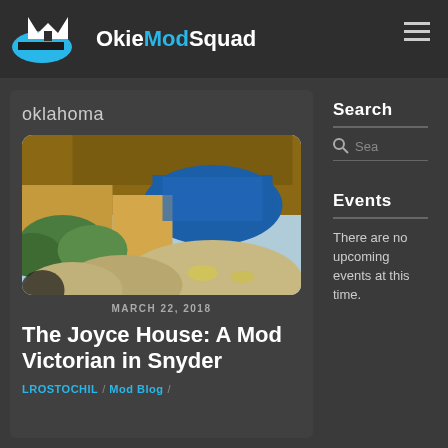OkieModSquad
oklahoma
[Figure (photo): Exterior photo of the Joyce House, a Mod Victorian building in Snyder, Oklahoma. Stone boulders in foreground, distinctive curved blue glass facade visible, wood-shingled roof.]
MARCH 22, 2018
The Joyce House: A Mod Victorian in Snyder
LROSTOCHIL / Mod Blog /
Search
Events
There are no upcoming events at this time.